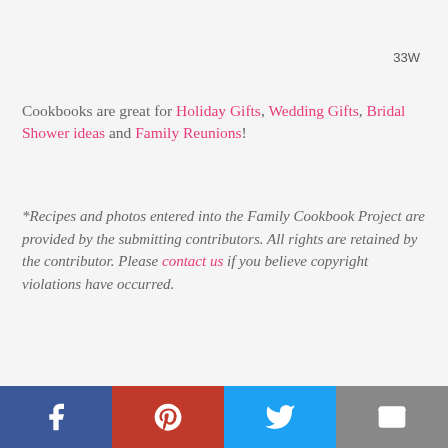33W
Cookbooks are great for Holiday Gifts, Wedding Gifts, Bridal Shower ideas and Family Reunions!
*Recipes and photos entered into the Family Cookbook Project are provided by the submitting contributors. All rights are retained by the contributor. Please contact us if you believe copyright violations have occurred.
Search for more great recipes here from over 1,500,000 in our family cookbooks!
[Figure (logo): Cookbook Project logo with photo background]
[Figure (infographic): Social media share bar with Facebook, Pinterest, Twitter, and email buttons]